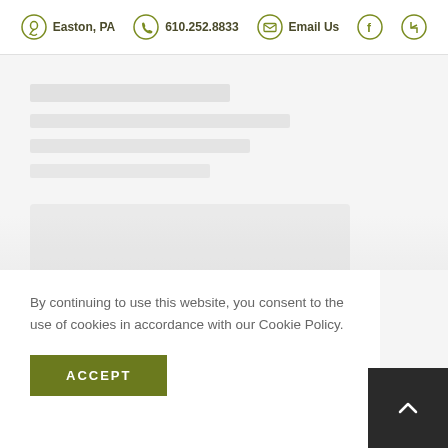Easton, PA  610.252.8833  Email Us  [Facebook] [Houzz]
[Figure (other): Faded/blurred map or contact form area in the background]
By continuing to use this website, you consent to the use of cookies in accordance with our Cookie Policy.
ACCEPT